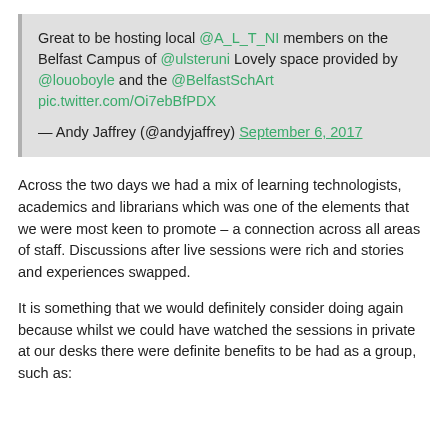Great to be hosting local @A_L_T_NI members on the Belfast Campus of @ulsteruni Lovely space provided by @louoboyle and the @BelfastSchArt pic.twitter.com/Oi7ebBfPDX

— Andy Jaffrey (@andyjaffrey) September 6, 2017
Across the two days we had a mix of learning technologists, academics and librarians which was one of the elements that we were most keen to promote – a connection across all areas of staff. Discussions after live sessions were rich and stories and experiences swapped.
It is something that we would definitely consider doing again because whilst we could have watched the sessions in private at our desks there were definite benefits to be had as a group, such as: